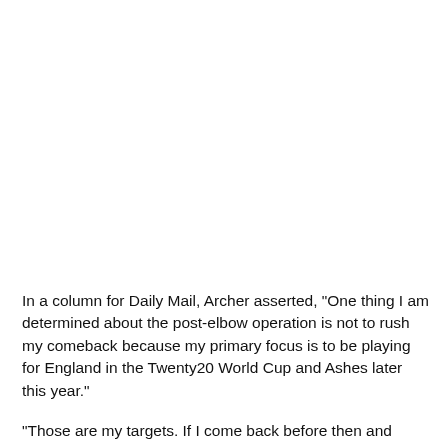In a column for Daily Mail, Archer asserted, "One thing I am determined about the post-elbow operation is not to rush my comeback because my primary focus is to be playing for England in the Twenty20 World Cup and Ashes later this year."
"Those are my targets. If I come back before then and manage to play in the home Test series against India, then fine, so be it.